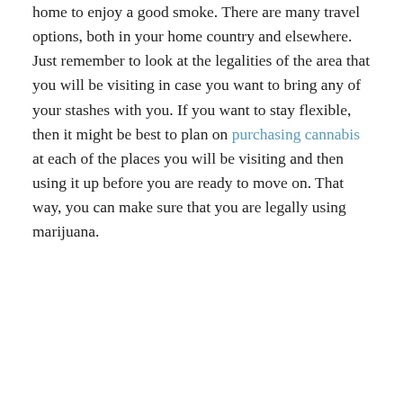home to enjoy a good smoke. There are many travel options, both in your home country and elsewhere. Just remember to look at the legalities of the area that you will be visiting in case you want to bring any of your stashes with you. If you want to stay flexible, then it might be best to plan on purchasing cannabis at each of the places you will be visiting and then using it up before you are ready to move on. That way, you can make sure that you are legally using marijuana.
[Figure (other): Horizontal divider line]
[Figure (other): Social sharing icons row: WhatsApp, Facebook, Twitter, Email, Pinterest, LinkedIn — each in a light grey circle outline]
This entry was posted in Cannabis. Bookmark the permalink.
Spiritual Uses of Marijuana Throughout History
How to Roll a Cross Joint Like a True Stoner